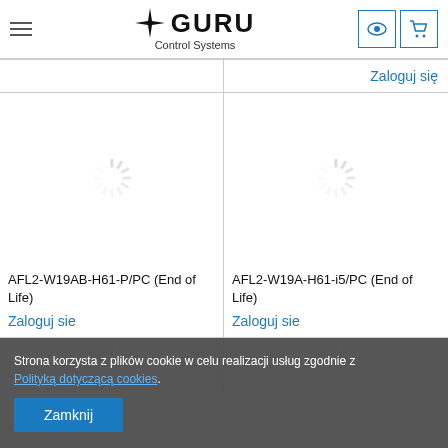GURU Control Systems
Zaloguj się
[Figure (illustration): Loading spinner icon for product AFL2-W19AB-H61-P/PC]
AFL2-W19AB-H61-P/PC (End of Life)
Zaloguj sie
[Figure (illustration): Loading spinner icon for product AFL2-W19A-H61-i5/PC]
AFL2-W19A-H61-i5/PC (End of Life)
Zaloguj sie
Strona korzysta z plików cookie w celu realizacji usług zgodnie z Polityką dotyczącą cookies.
Zamknij